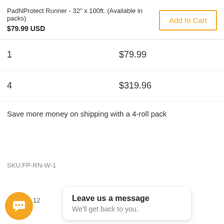PadNProtect Runner - 32" x 100ft. (Available in packs) $79.99 USD
| Qty | Price |
| --- | --- |
| 1 | $79.99 |
| 4 | $319.96 |
Save more money on shipping with a 4-roll pack
SKU:FP-RN-W-1
Leave us a message
We'll get back to you.